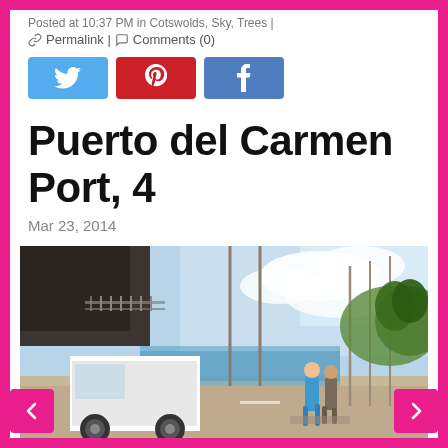Posted at 10:37 PM in Cotswolds, Sky, Trees |
🔗 Permalink | 💬 Comments (0)
[Figure (infographic): Social share buttons: Twitter (blue), Pinterest (red), Facebook (blue)]
Puerto del Carmen Port, 4
Mar 23, 2014
[Figure (photo): Watercolor painting of Puerto del Carmen port scene showing a white van, tall masts/poles, a person on horseback or running, buildings on hillside, blue sky with clouds. Impressionistic watercolor style.]